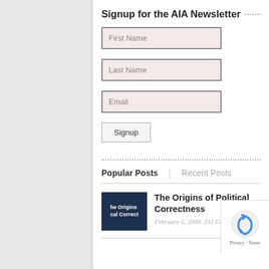Signup for the AIA Newsletter
First Name
Last Name
Email
Signup
Popular Posts
Recent Posts
The Origins of Political Correctness
February 5, 2000. 211 Comments